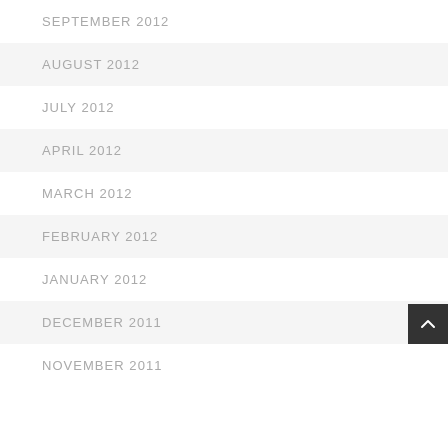SEPTEMBER 2012
AUGUST 2012
JULY 2012
APRIL 2012
MARCH 2012
FEBRUARY 2012
JANUARY 2012
DECEMBER 2011
NOVEMBER 2011